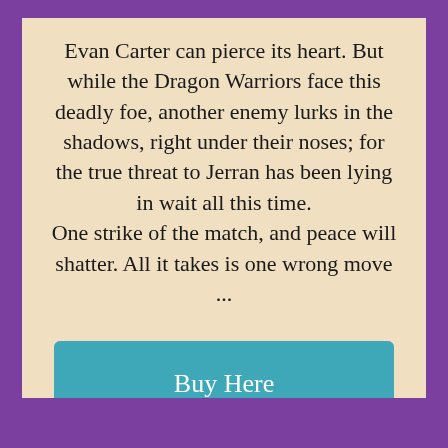Evan Carter can pierce its heart. But while the Dragon Warriors face this deadly foe, another enemy lurks in the shadows, right under their noses; for the true threat to Jerran has been lying in wait all this time.
One strike of the match, and peace will shatter. All it takes is one wrong move ...
Buy Here